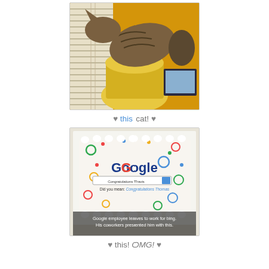[Figure (photo): A tabby cat perched on a yellow cat tree/scratching post, looking through window blinds. Yellow background with TV visible.]
♥ this cat! ♥
[Figure (photo): A decorated cake with Google logo and colorful swirls. The cake has a search bar reading 'Congratulations Travis' and text 'Did you mean: Congratulations Thomas'. Caption overlay reads: 'Google employee leaves to work for bing. His coworkers presented him with this.']
♥ this! OMG! ♥